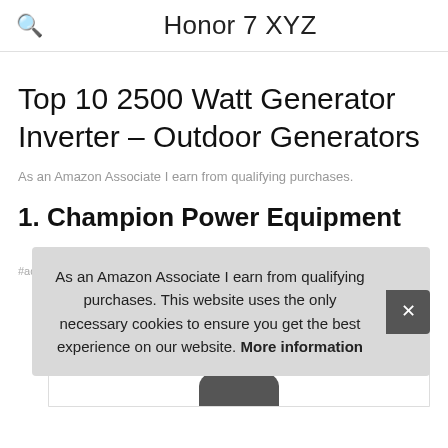Honor 7 XYZ
Top 10 2500 Watt Generator Inverter – Outdoor Generators
As an Amazon Associate I earn from qualifying purchases.
1. Champion Power Equipment
As an Amazon Associate I earn from qualifying purchases. This website uses the only necessary cookies to ensure you get the best experience on our website. More information